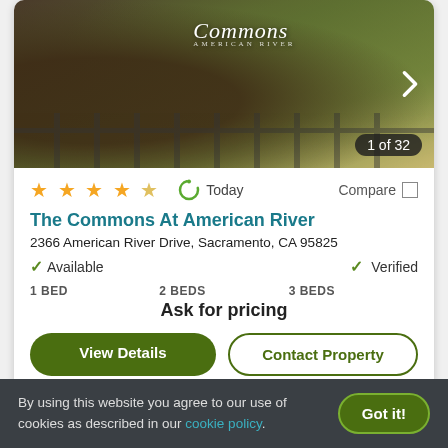[Figure (photo): Exterior photo of The Commons At American River apartment complex entrance sign with trees and parked cars, showing '1 of 32' counter]
★ ★ ★ ★ ★   Today   Compare
The Commons At American River
2366 American River Drive, Sacramento, CA 95825
✓ Available   ✓ Verified
1 BED   2 BEDS   3 BEDS
Ask for pricing
View Details   Contact Property
By using this website you agree to our use of cookies as described in our cookie policy.